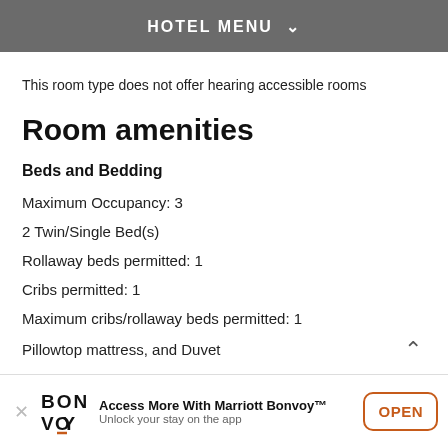HOTEL MENU
This room type does not offer hearing accessible rooms
Room amenities
Beds and Bedding
Maximum Occupancy: 3
2 Twin/Single Bed(s)
Rollaway beds permitted: 1
Cribs permitted: 1
Maximum cribs/rollaway beds permitted: 1
Pillowtop mattress, and Duvet
Access More With Marriott Bonvoy™ Unlock your stay on the app